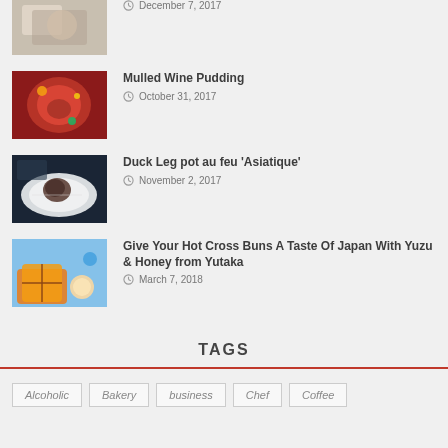[Figure (photo): Food photo - dessert/cake item, partially visible]
December 7, 2017
Mulled Wine Pudding
[Figure (photo): Food photo - Mulled Wine Pudding with red sauce and garnish]
October 31, 2017
Duck Leg pot au feu 'Asiatique'
[Figure (photo): Food photo - Duck Leg pot au feu on white plate]
November 2, 2017
Give Your Hot Cross Buns A Taste Of Japan With Yuzu & Honey from Yutaka
[Figure (photo): Food photo - Hot Cross Buns with yellow dipping sauce]
March 7, 2018
TAGS
Alcoholic
Bakery
business
Chef
Coffee